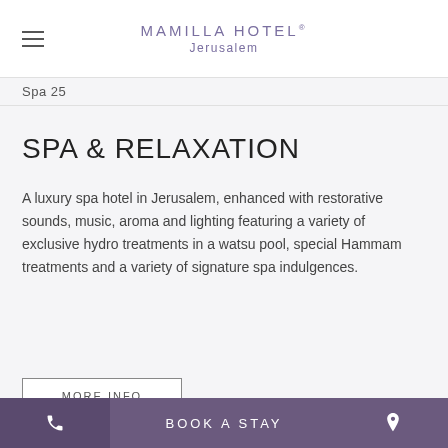MAMILLA HOTEL® Jerusalem
Spa 25
SPA & RELAXATION
A luxury spa hotel in Jerusalem, enhanced with restorative sounds, music, aroma and lighting featuring a variety of exclusive hydro treatments in a watsu pool, special Hammam treatments and a variety of signature spa indulgences.
MORE INFO
BOOK A STAY